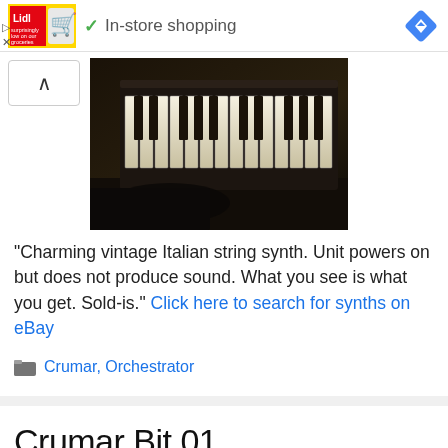[Figure (logo): Lidl grocery store advertisement banner with logo and shopping cart graphic, checkmark and 'In-store shopping' text, blue diamond navigation icon]
[Figure (photo): Dark photograph of a vintage Italian string synthesizer keyboard (piano keys visible, black and white keys on a dark body)]
“Charming vintage Italian string synth. Unit powers on but does not produce sound. What you see is what you get. Sold-is.” Click here to search for synths on eBay
Crumar, Orchestrator
Crumar Bit 01